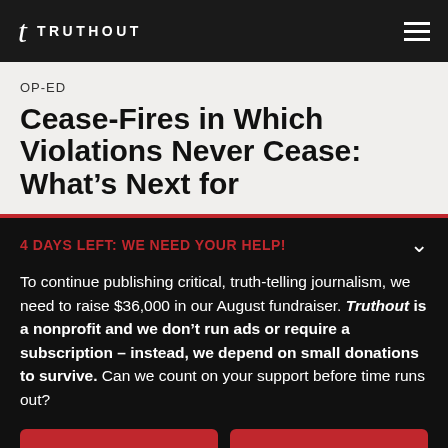TRUTHOUT
OP-ED
Cease-Fires in Which Violations Never Cease: What's Next for
4 DAYS LEFT: WE NEED YOUR HELP!
To continue publishing critical, truth-telling journalism, we need to raise $36,000 in our August fundraiser. Truthout is a nonprofit and we don't run ads or require a subscription – instead, we depend on small donations to survive. Can we count on your support before time runs out?
DONATE
DONATE MONTHLY